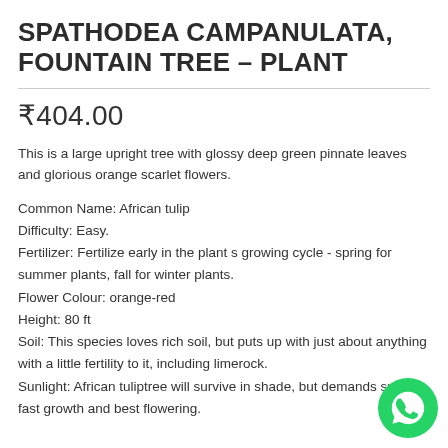SPATHODEA CAMPANULATA, FOUNTAIN TREE – PLANT
₹404.00
This is a large upright tree with glossy deep green pinnate leaves and glorious orange scarlet flowers.
Common Name: African tulip
Difficulty: Easy.
Fertilizer: Fertilize early in the plant s growing cycle - spring for summer plants, fall for winter plants.
Flower Colour: orange-red
Height: 80 ft
Soil: This species loves rich soil, but puts up with just about anything with a little fertility to it, including limerock.
Sunlight: African tuliptree will survive in shade, but demands sun for fast growth and best flowering.
[Figure (logo): WhatsApp contact button (green circle with phone handset icon)]